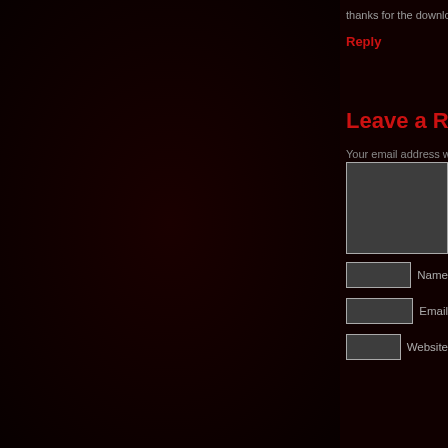thanks for the downloading of this LP, I was looking for it eve
Reply
Leave a Reply
Your email address will not be published.
[Figure (screenshot): Comment text area input field (dark grey background, light border)]
[Figure (screenshot): Name input field with label 'Name']
[Figure (screenshot): Email input field with label 'Email']
[Figure (screenshot): Website input field with label 'Website']